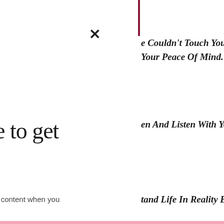× (close button)
e Couldn't Touch Your Soft Face Your Peace Of Mind.
e to get
en And Listen With Your Open
s content when you
tand Life In Reality Beyond The
Log in
Problems One By One...
WANT MORE?
Sign up to get some cool stuff
Email Address *